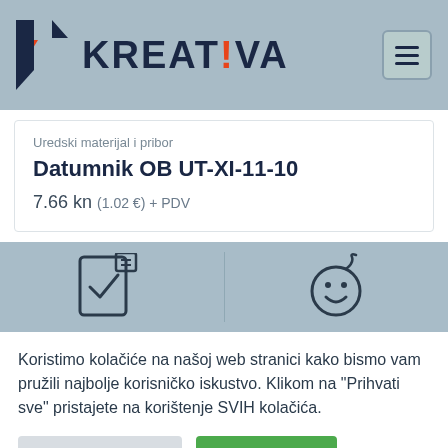[Figure (logo): Kreativa company logo with geometric arrow icon and text KREATIVA]
Uredski materijal i pribor
Datumnik OB UT-XI-11-10
7.66 kn (1.02 €) + PDV
[Figure (illustration): Two icons: a document/clipboard with checkmark on left, and a smiley face on right, separated by a vertical line, on blue-grey background]
Koristimo kolačiće na našoj web stranici kako bismo vam pružili najbolje korisničko iskustvo. Klikom na "Prihvati sve" pristajete na korištenje SVIH kolačića.
Postavke kolačića
Prihvatiti sve